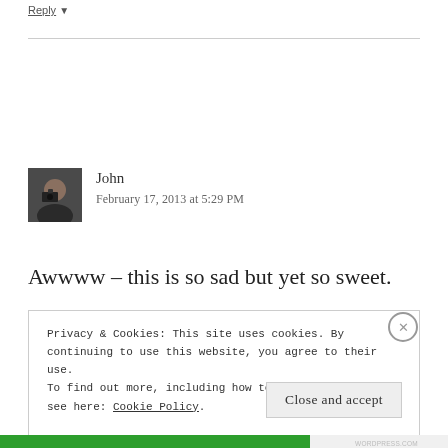Reply ▼
[Figure (photo): Avatar photo of commenter named John, person holding a camera]
John
February 17, 2013 at 5:29 PM
Awwww – this is so sad but yet so sweet.
Privacy & Cookies: This site uses cookies. By continuing to use this website, you agree to their use.
To find out more, including how to control cookies, see here: Cookie Policy
Close and accept